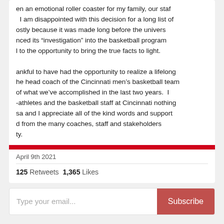en an emotional roller coaster for my family, our staff I am disappointed with this decision for a long list of ostly because it was made long before the univers nced its “investigation” into the basketball program l to the opportunity to bring the true facts to light.

ankful to have had the opportunity to realize a lifelong he head coach of the Cincinnati men’s basketball team of what we’ve accomplished in the last two years. I -athletes and the basketball staff at Cincinnati nothing sa and I appreciate all of the kind words and support d from the many coaches, staff and stakeholders ty.
April 9th 2021
125 Retweets  1,365 Likes
Type your email...